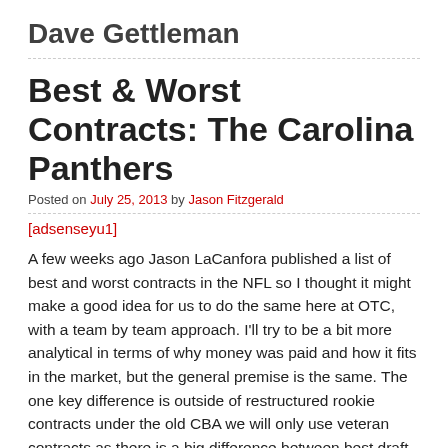Dave Gettleman
Best & Worst Contracts: The Carolina Panthers
Posted on July 25, 2013 by Jason Fitzgerald
[adsenseyu1]
A few weeks ago Jason LaCanfora published a list of best and worst contracts in the NFL so I thought it might make a good idea for us to do the same here at OTC, with a team by team approach. I'll try to be a bit more analytical in terms of why money was paid and how it fits in the market, but the general premise is the same. The one key difference is outside of restructured rookie contracts under the old CBA we will only use veteran contracts as there is a big difference between best draft picks and best contracts.  Please note that there is a difference